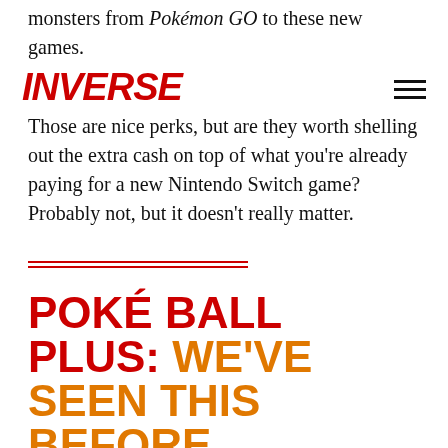monsters from Pokémon GO to these new games.
INVERSE
Those are nice perks, but are they worth shelling out the extra cash on top of what you're already paying for a new Nintendo Switch game? Probably not, but it doesn't really matter.
POKÉ BALL PLUS: WE'VE SEEN THIS BEFORE
Nintendo and the Pokémon Company did the exact same thing with Pokémon GO and the Pokémon GO Plus, a watch-sized device that you could use to spin PokéStops and catch Pokémon without staring at your